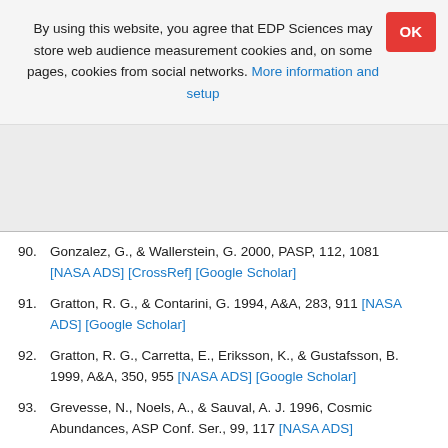By using this website, you agree that EDP Sciences may store web audience measurement cookies and, on some pages, cookies from social networks. More information and setup
90. Gonzalez, G., & Wallerstein, G. 2000, PASP, 112, 1081 [NASA ADS] [CrossRef] [Google Scholar]
91. Gratton, R. G., & Contarini, G. 1994, A&A, 283, 911 [NASA ADS] [Google Scholar]
92. Gratton, R. G., Carretta, E., Eriksson, K., & Gustafsson, B. 1999, A&A, 350, 955 [NASA ADS] [Google Scholar]
93. Grevesse, N., Noels, A., & Sauval, A. J. 1996, Cosmic Abundances, ASP Conf. Ser., 99, 117 [NASA ADS]